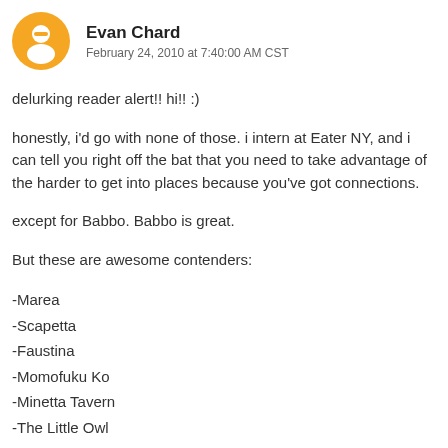Evan Chard
February 24, 2010 at 7:40:00 AM CST
delurking reader alert!! hi!! :)
honestly, i'd go with none of those. i intern at Eater NY, and i can tell you right off the bat that you need to take advantage of the harder to get into places because you've got connections.
except for Babbo. Babbo is great.
But these are awesome contenders:
-Marea
-Scapetta
-Faustina
-Momofuku Ko
-Minetta Tavern
-The Little Owl
Congratulations!!!